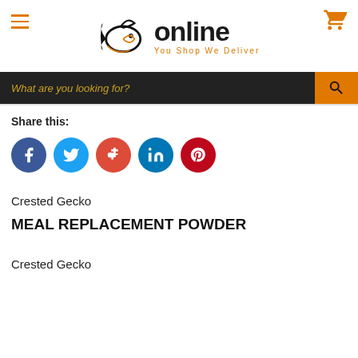[Figure (logo): JK Online fish logo with text 'online' and tagline 'You Shop We Deliver']
What are you looking for?
Share this:
[Figure (infographic): Social share icons: Facebook (blue circle f), Twitter (light blue circle bird), Google+ (red circle g+), LinkedIn (dark blue circle in), Pinterest (dark red circle p)]
Crested Gecko
MEAL REPLACEMENT POWDER
Crested Gecko